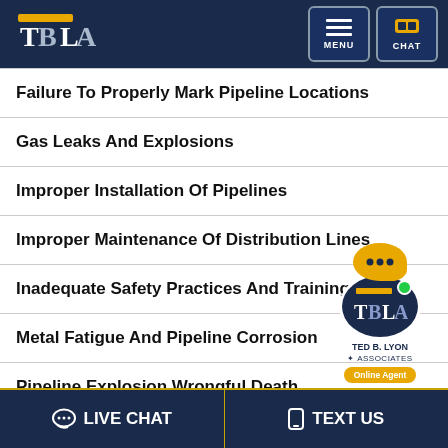TBLA — Ted B. Lyon & Associates
Failure To Properly Mark Pipeline Locations
Gas Leaks And Explosions
Improper Installation Of Pipelines
Improper Maintenance Of Distribution Lines
Inadequate Safety Practices And Training
Metal Fatigue And Pipeline Corrosion
Pipeline Explosion Wrongful Death
What Damages Are Available in a Pipeline
LIVE CHAT   TEXT US